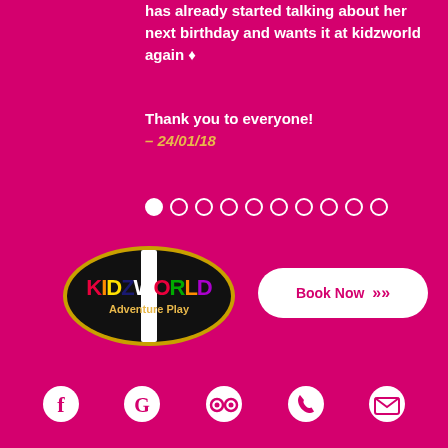has already started talking about her next birthday and wants it at kidzworld again 🔷
Thank you to everyone!
– 24/01/18
[Figure (other): Carousel navigation dots, 10 dots total, first dot filled white, rest are outlines]
[Figure (logo): Kidzworld Adventure Play logo — oval black background with white cross stripe, colorful KIDZWORLD text, Adventure Play text in yellow]
[Figure (other): Book Now button — white rounded rectangle with hot pink text and double chevron arrows]
[Figure (other): Footer social/contact icons row: Facebook, Google, TripAdvisor, Phone, Email — all white on hot pink background]